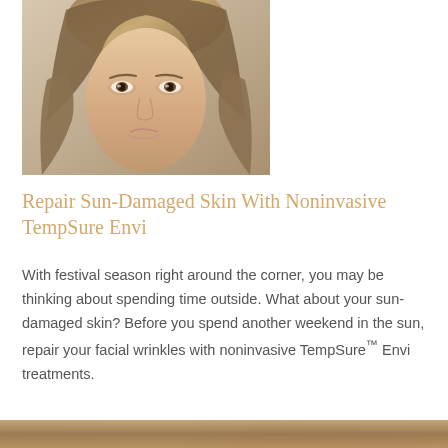[Figure (photo): Close-up portrait photo of a young woman with long blonde hair, looking directly at the camera with a neutral expression, soft lighting.]
Repair Sun-Damaged Skin With Noninvasive TempSure Envi
With festival season right around the corner, you may be thinking about spending time outside. What about your sun-damaged skin? Before you spend another weekend in the sun, repair your facial wrinkles with noninvasive TempSure™ Envi treatments.
[Figure (photo): Bottom edge of another photo visible at the bottom of the page.]